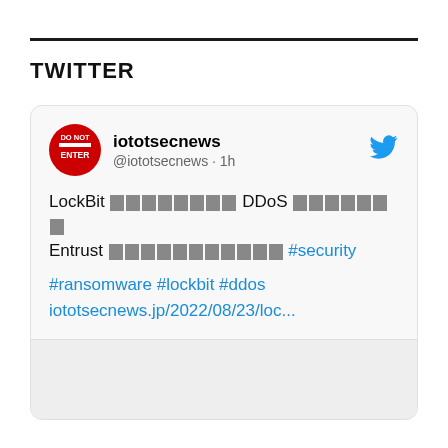TWITTER
[Figure (screenshot): A tweet from @iototsecnews showing a post about LockBit DDoS attack on Entrust with hashtags #security #ransomware #lockbit #ddos and a link to iototsecnews.jp/2022/08/23/loc...]